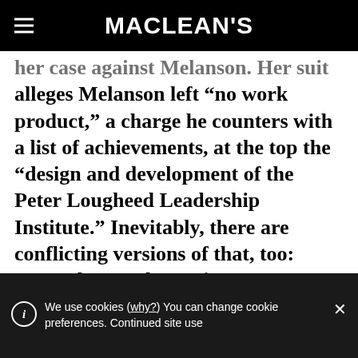MACLEAN'S
her case against Melanson. Her suit alleges Melanson left “no work product,” a charge he counters with a list of achievements, at the top the “design and development of the Peter Lougheed Leadership Institute.” Inevitably, there are conflicting versions of that, too: Some close to the project say Melanson was merely “at the right place at the right time,” and that
We use cookies (why?) You can change cookie preferences. Continued site use